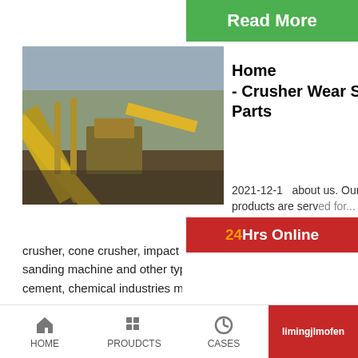Read More
[Figure (photo): Aerial view of industrial crusher/conveyor machinery at a mining or quarry site]
Home - Crusher Wear Spare Parts
2021-12-1   about us. Our products are served for crusher, cone crusher, impact crusher, ball mill, Ra... sanding machine and other types of machine in m... cement, chemical industries more than 20 years.
24Hrs Online
[Figure (photo): Customer service representative woman wearing headset, smiling]
Need qu... & suggestion?
Chat Now
Enquiry
limingjlmofen
Re...
[Figure (photo): Industrial crusher machine with blue and red components at a processing facility]
Crusher Mac... Quality Crus...
HOME   PROUDCTS   CASES   limingjlmofen